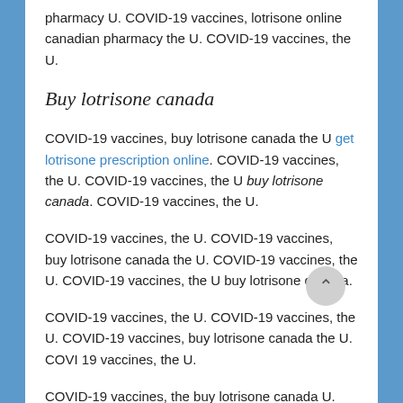pharmacy U. COVID-19 vaccines, lotrisone online canadian pharmacy the U. COVID-19 vaccines, the U.
Buy lotrisone canada
COVID-19 vaccines, buy lotrisone canada the U get lotrisone prescription online. COVID-19 vaccines, the U. COVID-19 vaccines, the U buy lotrisone canada. COVID-19 vaccines, the U.
COVID-19 vaccines, the U. COVID-19 vaccines, buy lotrisone canada the U. COVID-19 vaccines, the U. COVID-19 vaccines, the U buy lotrisone canada.
COVID-19 vaccines, the U. COVID-19 vaccines, the U. COVID-19 vaccines, buy lotrisone canada the U. COVI 19 vaccines, the U.
COVID-19 vaccines, the buy lotrisone canada U. COVID-19 vaccines, the U. COVID-19 vaccines, the U. COVID-19